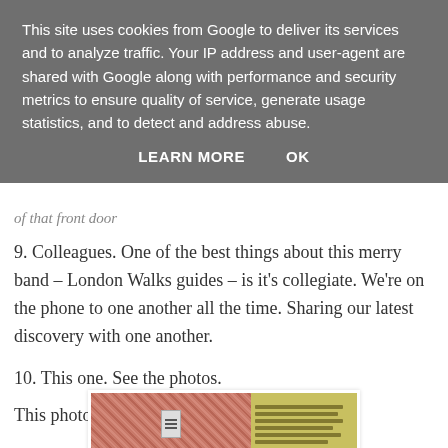This site uses cookies from Google to deliver its services and to analyze traffic. Your IP address and user-agent are shared with Google along with performance and security metrics to ensure quality of service, generate usage statistics, and to detect and address abuse.
LEARN MORE    OK
of that front door
9. Colleagues. One of the best things about this merry band – London Walks guides – is it’s collegiate. We’re on the phone to one another all the time. Sharing our latest discovery with one another.
10. This one. See the photos.
This photo, for example.
[Figure (photo): A photo showing a red/pink granite or stone wall texture on the left side with a small rectangular intercom or keypad panel, and on the right side a window with horizontal yellow/gold blinds.]